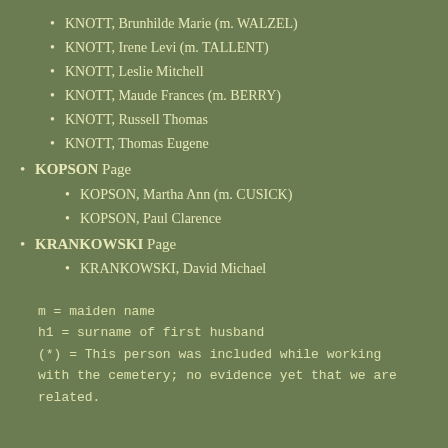KNOTT, Brunhilde Marie (m. WALZEL)
KNOTT, Irene Levi (m. TALLENT)
KNOTT, Leslie Mitchell
KNOTT, Maude Frances (m. BERRY)
KNOTT, Russell Thomas
KNOTT, Thomas Eugene
KOPSON Page
KOPSON, Martha Ann (m. CUSICK)
KOPSON, Paul Clarence
KRANKOWSKI Page
KRANKOWSKI, David Michael
m = maiden name
h1 = surname of first husband
(*) = This person was included while working with the cemetery; no evidence yet that we are related.